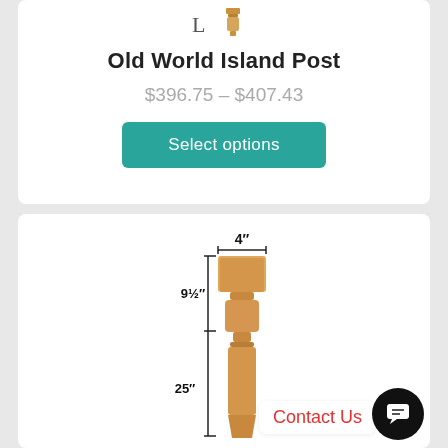[Figure (illustration): Small product thumbnail icon showing a post shape at top of card]
Old World Island Post
$396.75 – $407.43
Select options
[Figure (engineering-diagram): Technical diagram of Old World Island Post showing dimensions: 4 inch width at top, 9½ inch upper section, 25 inch lower section. Wood post with turned spindle shape.]
Contact Us